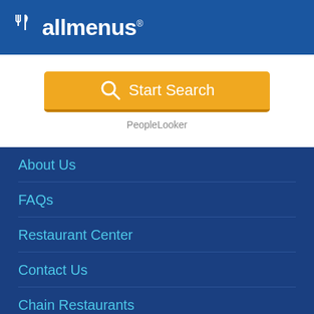allmenus
[Figure (screenshot): Orange 'Start Search' button with magnifying glass icon, and 'PeopleLooker' text below]
About Us
FAQs
Restaurant Center
Contact Us
Chain Restaurants
Terms & Conditions